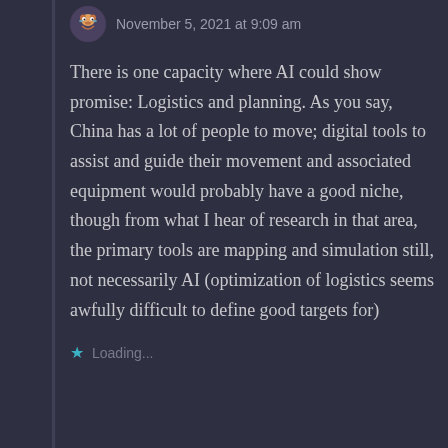November 5, 2021 at 9:09 am
There is one capacity where AI could show promise: Logistics and planning. As you say, China has a lot of people to move; digital tools to assist and guide their movement and associated equipment would probably have a good niche, though from what I hear of research in that area, the primary tools are mapping and simulation still, not necessarily AI (optimization of logistics seems awfully difficult to define good targets for)
Loading...